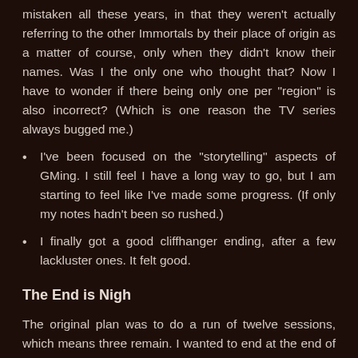mistaken all these years, in that they weren't actually referring to the other Immortals by their place of origin as a matter of course, only when they didn't know their names. Was I the only one who thought that? Now I have to wonder if there being only one per "region" is also incorrect? (Which is one reason the TV series always bugged me.)
I've been focused on the "storytelling" aspects of GMing. I still feel I have a long way to go, but I am starting to feel like I've made some progress. (If only my notes hadn't been so rushed.)
I finally got a good cliffhanger ending, after a few lackluster ones. It felt good.
The End is Nigh
The original plan was to do a run of twelve sessions, which means three remain. I wanted to end at the end of one of the Treasure Map quests, at least, but that doesn't look like it will